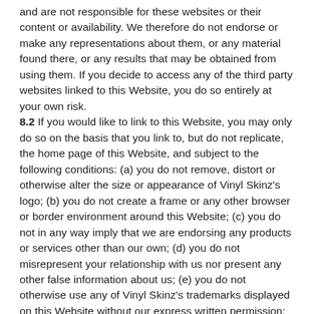and are not responsible for these websites or their content or availability. We therefore do not endorse or make any representations about them, or any material found there, or any results that may be obtained from using them. If you decide to access any of the third party websites linked to this Website, you do so entirely at your own risk. 8.2 If you would like to link to this Website, you may only do so on the basis that you link to, but do not replicate, the home page of this Website, and subject to the following conditions: (a) you do not remove, distort or otherwise alter the size or appearance of Vinyl Skinz's logo; (b) you do not create a frame or any other browser or border environment around this Website; (c) you do not in any way imply that we are endorsing any products or services other than our own; (d) you do not misrepresent your relationship with us nor present any other false information about us; (e) you do not otherwise use any of Vinyl Skinz's trademarks displayed on this Website without our express written permission; (f) you do not link from a website that is not owned by you; and (g) your website does not contain content that is distasteful, offensive or controversial, infringes any intellectual property rights or other rights of any other person or otherwise does not comply with all applicable laws and regulations. We expressly reserve the right to revoke the right granted in this clause 8.2 for breach of these terms and to take any action we deem appropriate. 8.3 You shall fully indemnify us for any loss or damage we or any of our